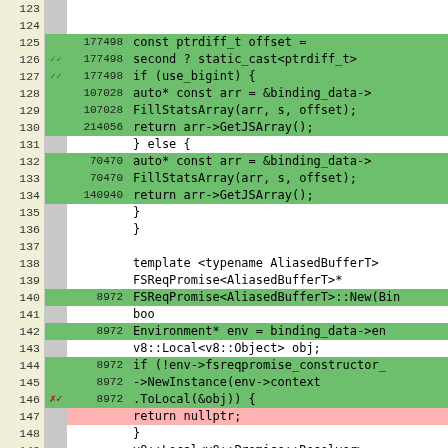[Figure (screenshot): Code coverage viewer showing C++ source lines 123-149 with line numbers, execution counts, coverage markers (green for covered, pink for uncovered), and code text including function bodies with FillStatsArray, GetJSArray, FSReqPromise template code.]